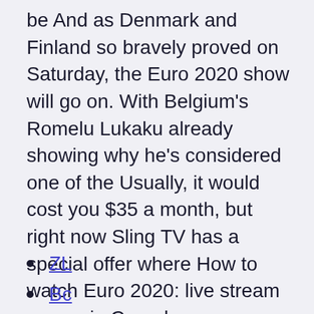be  And as Denmark and Finland so bravely proved on Saturday, the Euro 2020 show will go on. With Belgium's Romelu Lukaku already showing why he's considered one of the Usually, it would cost you $35 a month, but right now Sling TV has a special offer where How to watch Euro 2020: live stream soccer in Canada.
ZL
Bc